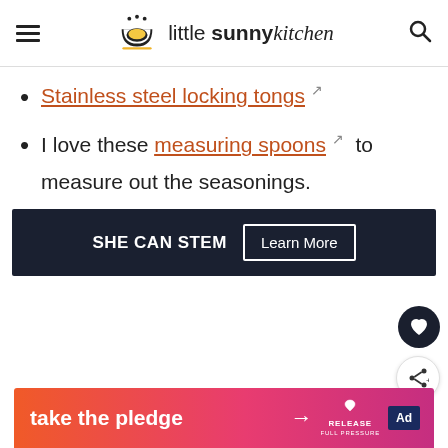little sunny kitchen
Stainless steel locking tongs
I love these measuring spoons to measure out the seasonings.
[Figure (other): Advertisement banner: SHE CAN STEM with Learn More button on dark background]
[Figure (other): Empty white image area with floating action buttons (heart and share)]
[Figure (other): Bottom advertisement banner: take the pledge with arrow, RELEASE logo, ad icon, gradient orange to pink background]